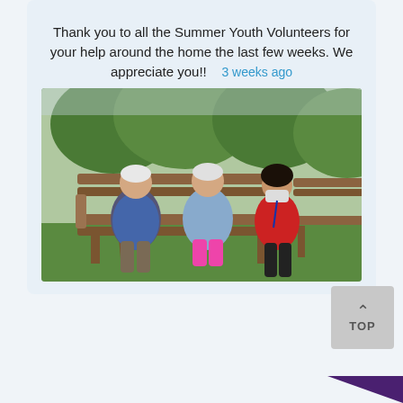Thank you to all the Summer Youth Volunteers for your help around the home the last few weeks. We appreciate you!!    3 weeks ago
[Figure (photo): Three people sitting on a wooden garden bench outdoors: an elderly man in a blue cardigan on the left, an elderly woman in a light blue jacket and bright pink shorts in the middle, and a younger woman in a red shirt wearing a face mask on the right. Green trees and garden in the background.]